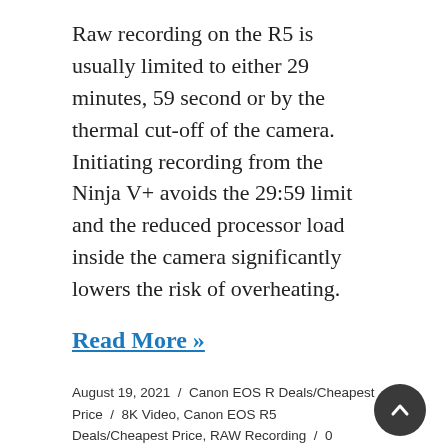Raw recording on the R5 is usually limited to either 29 minutes, 59 second or by the thermal cut-off of the camera. Initiating recording from the Ninja V+ avoids the 29:59 limit and the reduced processor load inside the camera significantly lowers the risk of overheating.
Read More »
August 19, 2021 / Canon EOS R Deals/Cheapest Price / 8K Video, Canon EOS R5 Deals/Cheapest Price, RAW Recording / 0 Comments
Canon XF605 UHD 4K HDR Pro Camcorder